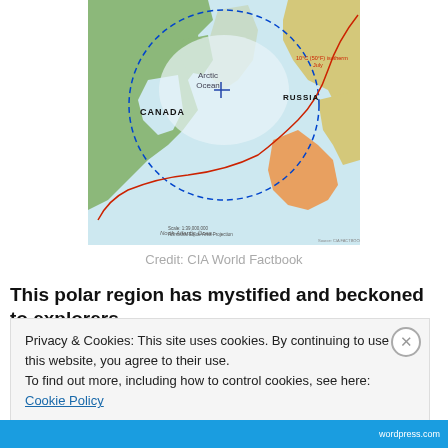[Figure (map): Arctic region map showing Canada, Russia, Arctic Ocean, North Atlantic Ocean, with blue dashed boundary circle, red 10°C isotherm line, and geographical labels. Credit: CIA World Factbook.]
Credit: CIA World Factbook
This polar region has mystified and beckoned to explorers
Privacy & Cookies: This site uses cookies. By continuing to use this website, you agree to their use.
To find out more, including how to control cookies, see here: Cookie Policy
Close and accept